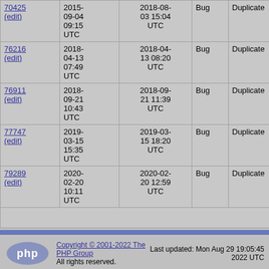| ID | Date | Modified | Type | Status | Version | OS | Summary |
| --- | --- | --- | --- | --- | --- | --- | --- |
| 70425 (edit) | 2015-09-04 09:15 UTC | 2018-08-03 15:04 UTC | Bug | Duplicate | 5.6.12 | Irrelevant | Multicurl r PHP >= 5 … |
| 76216 (edit) | 2018-04-13 07:49 UTC | 2018-04-13 08:20 UTC | Bug | Duplicate | 7.2.4 | Debian | Post not w subarray … |
| 76911 (edit) | 2018-09-21 10:43 UTC | 2018-09-21 11:39 UTC | Bug | Duplicate | 7.2Git-2018-09-21 (Git) | windows 10 | When cal function i code run … |
| 77747 (edit) | 2019-03-15 15:35 UTC | 2019-03-15 18:20 UTC | Bug | Duplicate | 7.2.16 | Ubuntu 18.10 | Segmenta… |
| 79289 (edit) | 2020-02-20 10:11 UTC | 2020-02-20 12:59 UTC | Bug | Duplicate | 7.4.2 | Windows | POSTing … timeout |
Showing 1-12 of 12
Copyright © 2001-2022 The PHP Group. All rights reserved. Last updated: Mon Aug 29 19:05:45 2022 UTC